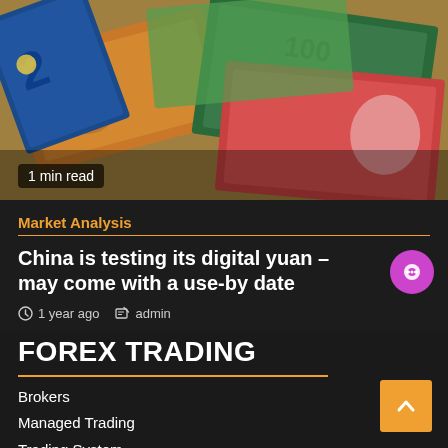[Figure (photo): Assorted international currency banknotes including Euro, US Dollar, Chinese Yuan spread out overlapping each other. A badge reading '1 min read' is overlaid at the bottom left.]
Market Analysis
China is testing its digital yuan – may come with a use-by date
1 year ago  admin
FOREX TRADING
Brokers
Managed Trading
Trading System
Trading Signals